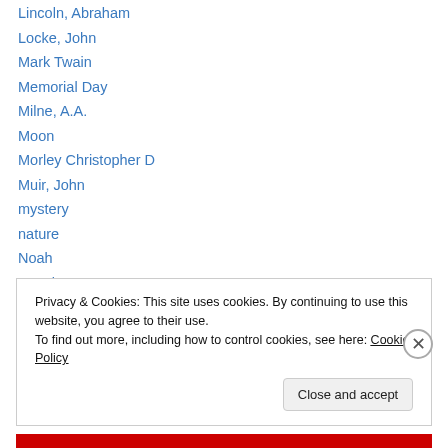Lincoln, Abraham
Locke, John
Mark Twain
Memorial Day
Milne, A.A.
Moon
Morley Christopher D
Muir, John
mystery
nature
Noah
Novel
O'Keefe, Georgia
Privacy & Cookies: This site uses cookies. By continuing to use this website, you agree to their use. To find out more, including how to control cookies, see here: Cookie Policy
Close and accept